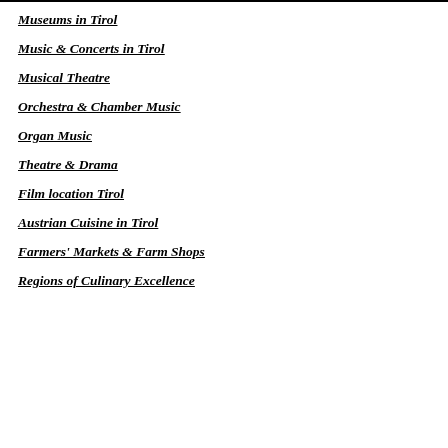Museums in Tirol
Music & Concerts in Tirol
Musical Theatre
Orchestra & Chamber Music
Organ Music
Theatre & Drama
Film location Tirol
Austrian Cuisine in Tirol
Farmers' Markets & Farm Shops
Regions of Culinary Excellence